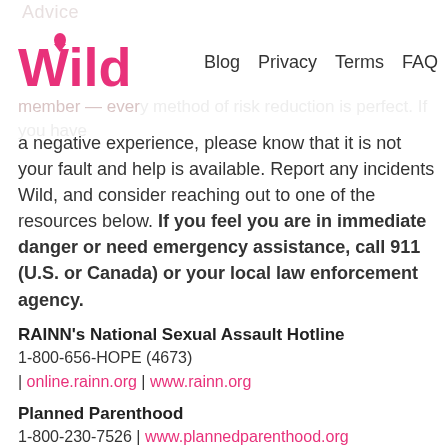Advice | Wild | Blog | Privacy | Terms | FAQ
a negative experience, please know that it is not your fault and help is available. Report any incidents Wild, and consider reaching out to one of the resources below. If you feel you are in immediate danger or need emergency assistance, call 911 (U.S. or Canada) or your local law enforcement agency.
RAINN's National Sexual Assault Hotline
1-800-656-HOPE (4673)
| online.rainn.org | www.rainn.org
Planned Parenthood
1-800-230-7526 | www.plannedparenthood.org
National Domestic Violence Hotline
1-800-799-SAFE (7233) or 1-800-787-3224